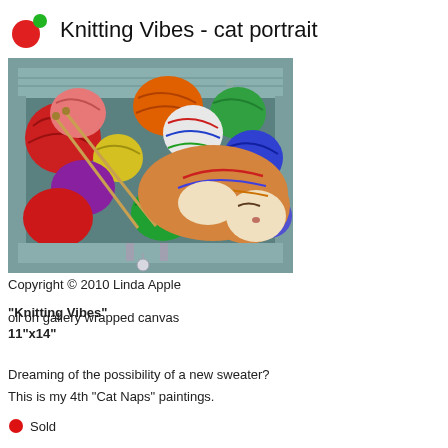Knitting Vibes - cat portrait
[Figure (illustration): Oil painting of a cat sleeping among colorful yarn balls in a wooden box. The cat is orange and white, nestled among red, orange, green, purple, blue, and other colored yarn balls with knitting needles visible. A small white charm or bell hangs from the front of the box.]
Copyright © 2010 Linda Apple
"Knitting Vibes"
oil on gallery wrapped canvas
11"x14"
Dreaming of the possibility of a new sweater? This is my 4th "Cat Naps" paintings.
Sold